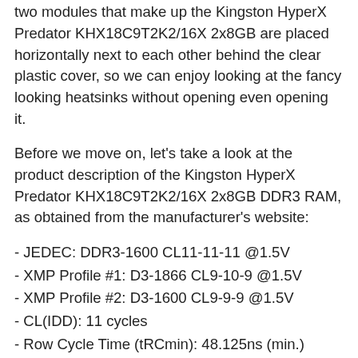two modules that make up the Kingston HyperX Predator KHX18C9T2K2/16X 2x8GB are placed horizontally next to each other behind the clear plastic cover, so we can enjoy looking at the fancy looking heatsinks without opening even opening it.
Before we move on, let's take a look at the product description of the Kingston HyperX Predator KHX18C9T2K2/16X 2x8GB DDR3 RAM, as obtained from the manufacturer's website:
- JEDEC: DDR3-1600 CL11-11-11 @1.5V
- XMP Profile #1: D3-1866 CL9-10-9 @1.5V
- XMP Profile #2: D3-1600 CL9-9-9 @1.5V
- CL(IDD): 11 cycles
- Row Cycle Time (tRCmin): 48.125ns (min.)
- Refresh to Active/Refresh Command Time (tRFCmin): 260ns (min.)
- Row Active Time (tRASmin): 35ns (min.)
- Maximum Operating Power: 2.580 W
- UL Rating: 94 V - 0
- Operating Temperature: 0 C to 85 C
- Storage Temperature: 55 C to +100 C